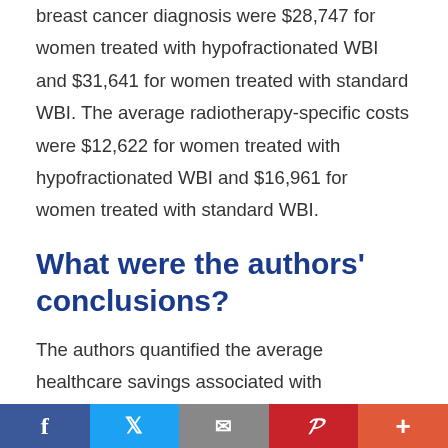breast cancer diagnosis were $28,747 for women treated with hypofractionated WBI and $31,641 for women treated with standard WBI. The average radiotherapy-specific costs were $12,622 for women treated with hypofractionated WBI and $16,961 for women treated with standard WBI.
What were the authors' conclusions?
The authors quantified the average healthcare savings associated with hypofractionated WBI ($2,894). They also concluded that use of
f  🐦  ✉  𝒫  +